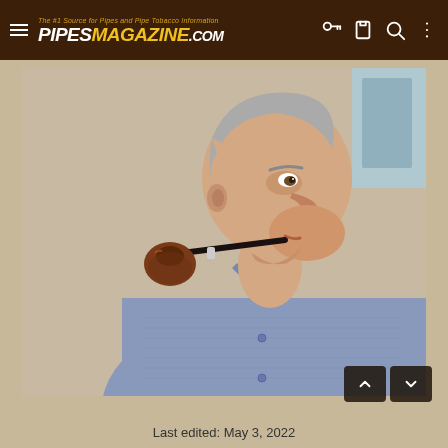The #1 Source for Pipes and Pipe Tobacco Information — PIPESMAGAZINE.COM
[Figure (photo): Elderly man in profile view smoking a briar pipe, wearing a light blue button-up shirt, photographed against a beige wall.]
Last edited: May 3, 2022